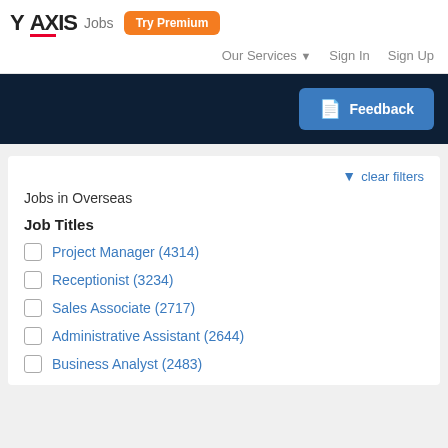Y AXIS Jobs Try Premium
Our Services ▾   Sign In   Sign Up
[Figure (screenshot): Feedback button on dark navy banner]
▼ clear filters
Jobs in Overseas
Job Titles
Project Manager (4314)
Receptionist (3234)
Sales Associate (2717)
Administrative Assistant (2644)
Business Analyst (2483)